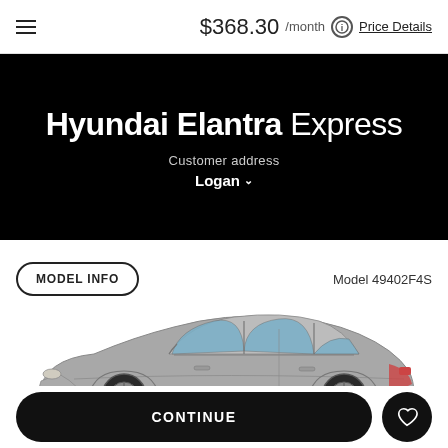$368.30 /month  Price Details
Hyundai Elantra Express
Customer address
Logan
MODEL INFO
Model 49402F4S
[Figure (photo): Side profile view of a silver Hyundai Elantra sedan]
CONTINUE